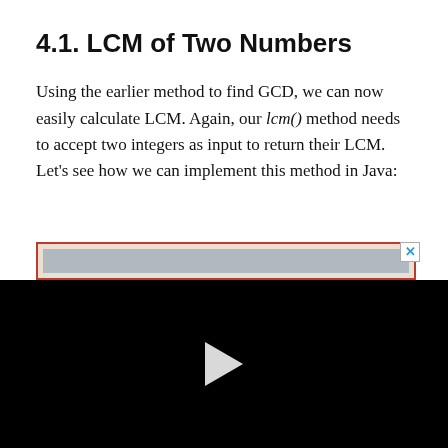4.1. LCM of Two Numbers
Using the earlier method to find GCD, we can now easily calculate LCM. Again, our lcm() method needs to accept two integers as input to return their LCM. Let's see how we can implement this method in Java:
[Figure (screenshot): Advertisement banner with red border and close button (X), partially visible below the text content, followed by a black video player area with a white play button triangle in the center.]